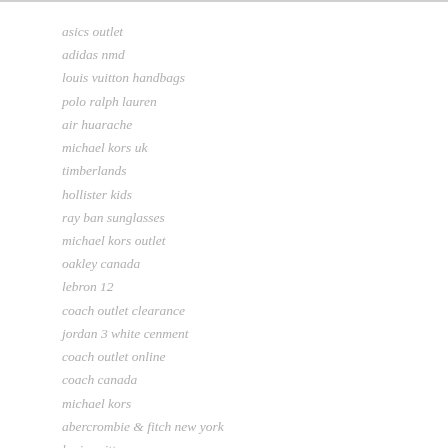asics outlet
adidas nmd
louis vuitton handbags
polo ralph lauren
air huarache
michael kors uk
timberlands
hollister kids
ray ban sunglasses
michael kors outlet
oakley canada
lebron 12
coach outlet clearance
jordan 3 white cenment
coach outlet online
coach canada
michael kors
abercrombie & fitch new york
louis vuitton purses
michael kors handbags
supra for sale
kate spade outlet